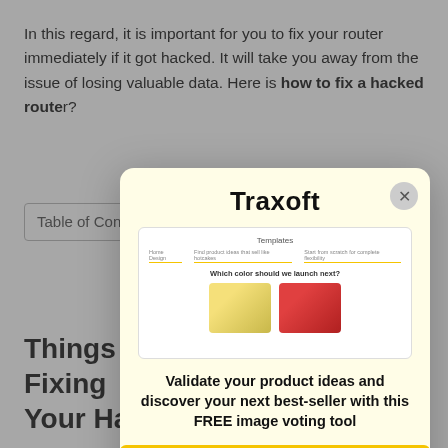In this regard, it is important for you to fix your router immediately if it got hacked. It will take you away from the issue of losing valuable data. Here is how to fix a hacked router?
Table of Contents
Things You Should Do For Fixing Your Hacked WiFi Router
Once you get to know that your router is getting hacked, you need to follow things for fixing your hacked router.
[Figure (screenshot): Traxoft modal popup advertisement with product image voting tool screenshot showing 'Templates' heading, 'Which color should we launch next?' question with two product images, bold tagline 'Validate your product ideas and discover your next best-seller with this FREE image voting tool', and a yellow GET FOR FREE button. Close button in top right.]
Disconnect the Internet
The next step is to disconnect the internet from